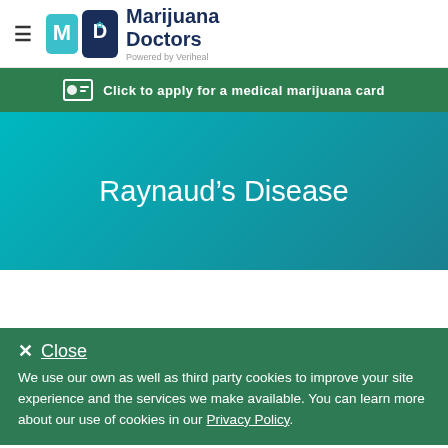Marijuana Doctors - Powered by Veriheal
Click to apply for a medical marijuana card
Raynaud's Disease
Close
We use our own as well as third party cookies to improve your site experience and the services we make available. You can learn more about our use of cookies in our Privacy Policy.